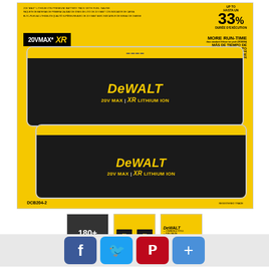[Figure (photo): DeWalt 20V MAX XR Lithium Ion Premium Battery Pack 2-pack (DCB204-2) product packaging. Yellow package with two black DeWalt batteries visible. Package shows '33% more run-time' claim and multilingual text in English, Spanish, French.]
[Figure (photo): Thumbnail 1: '180+' compatible tools collage on dark background]
[Figure (photo): Thumbnail 2: Two yellow DeWalt batteries side by side on yellow background]
[Figure (photo): Thumbnail 3: DeWalt logo on yellow background with product spec lines]